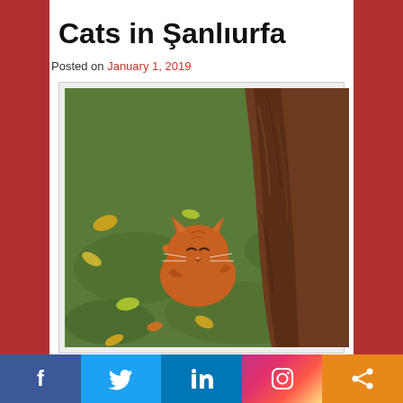Cats in Şanlıurfa
Posted on January 1, 2019
[Figure (photo): An orange tabby cat resting against the base of a large tree trunk on a grass lawn with fallen autumn leaves scattered around.]
Cats in Şanlıurfa do not have a real good or a real bad life. It depends a bit where they are, whom they meet and what the weather is like. I saw happy and